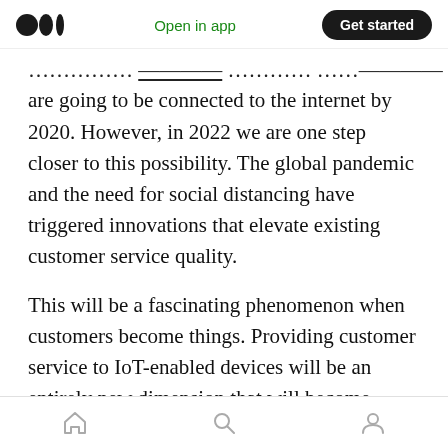Medium app header with logo, Open in app, Get started button
...ccording to [source] report, 26 billion things are going to be connected to the internet by 2020. However, in 2022 we are one step closer to this possibility. The global pandemic and the need for social distancing have triggered innovations that elevate existing customer service quality.
This will be a fascinating phenomenon when customers become things. Providing customer service to IoT-enabled devices will be an entirely new dimension that will become visible where proactive maintenance or warranty will be gaining traction.
Bottom navigation bar with home, search, profile icons